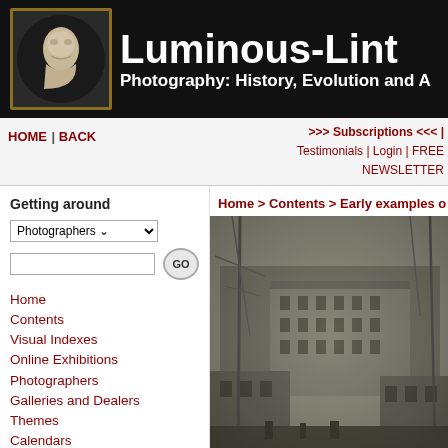Luminous-Lint — Photography: History, Evolution and A...
HOME | BACK >>> Subscriptions <<< | Testimonials | Login | FREE NEWSLETTER
Getting around
Photographers (dropdown) GO button, search input
Home
Contents
Visual Indexes
Online Exhibitions
Photographers
Galleries and Dealers
Themes
Calendars
Timelines
Techniques
Library
Support
Home > Contents > Early examples o...
[Figure (photo): Early historical photograph showing buildings and urban rooftops, sepia/grayscale tone, appears to be a daguerreotype or early photographic print of a European city scene with scaffolding or ship masts visible]